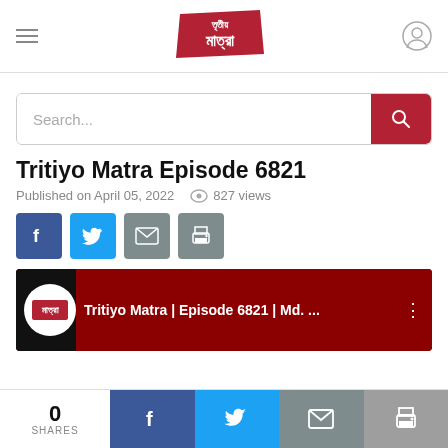[Figure (logo): Tritiyo Matra Bengali news logo in red and white]
[Figure (screenshot): Search bar with search button]
Tritiyo Matra Episode 6821
Published on April 05, 2022   827 views
[Figure (infographic): Social share buttons: Facebook, Twitter, Email, Print]
[Figure (screenshot): YouTube video thumbnail for Tritiyo Matra | Episode 6821 | Md. ...]
0 SHARES
[Figure (infographic): Bottom share bar with Facebook, Twitter, Email, Print buttons]